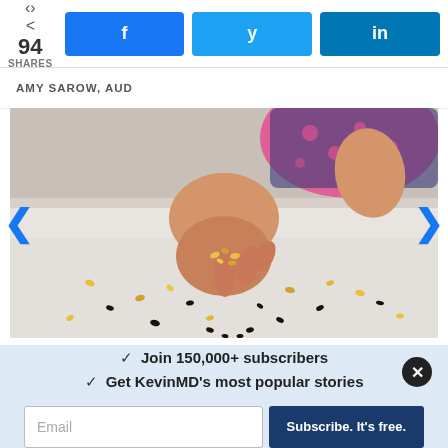< 94 SHARES  [Facebook] [Twitter] [LinkedIn]
AMY SAROW, AUD
[Figure (photo): A child's hand holding and dropping small seeds/corn kernels onto a white surface with scattered seeds around]
✓ Join 150,000+ subscribers
✓ Get KevinMD's most popular stories
Email  Subscribe. It's free.